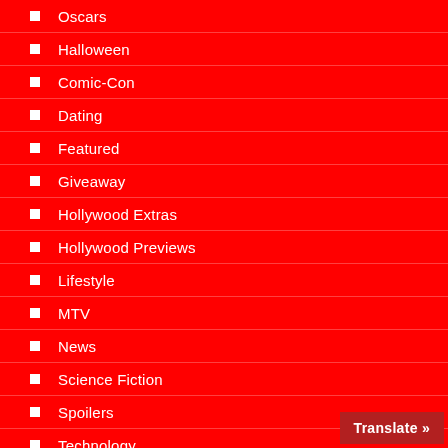Oscars
Halloween
Comic-Con
Dating
Featured
Giveaway
Hollywood Extras
Hollywood Previews
Lifestyle
MTV
News
Science Fiction
Spoilers
Technology